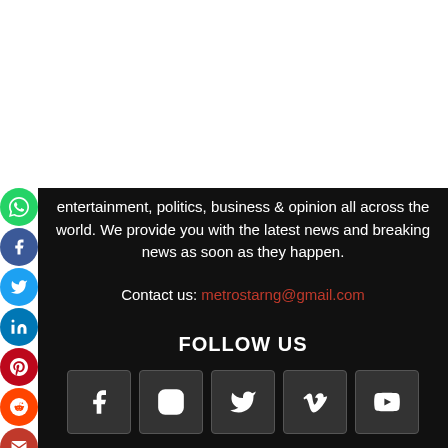entertainment, politics, business & opinion all across the world. We provide you with the latest news and breaking news as soon as they happen.
Contact us: metrostarng@gmail.com
FOLLOW US
[Figure (infographic): Row of 5 social media icon buttons: Facebook, Instagram, Twitter, Vimeo, YouTube]